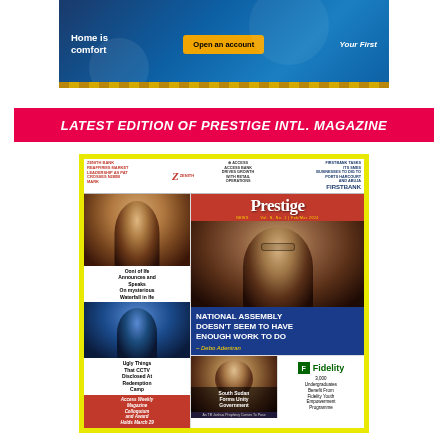[Figure (photo): Bank advertisement banner showing 'Home is comfort', 'Open an account', 'Your First' branding with blue background and decorative elements]
LATEST EDITION OF PRESTIGE INTL. MAGAZINE
[Figure (photo): Cover of Prestige International Magazine featuring sponsor logos (Zenith Bank, Access Bank, FirstBank), Prestige masthead, portrait of man in traditional attire, headlines including 'NATIONAL ASSEMBLY DOESN'T SEEM TO HAVE ENOUGH WORK TO DO – Debo Adeniran', South Sudan Forms Unity Government, Fidelity Youth Empowerment Programme, and other stories]